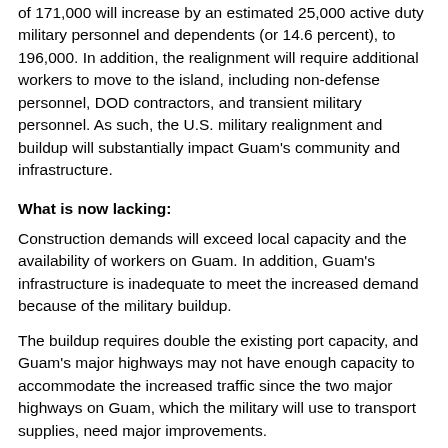of 171,000 will increase by an estimated 25,000 active duty military personnel and dependents (or 14.6 percent), to 196,000. In addition, the realignment will require additional workers to move to the island, including non-defense personnel, DOD contractors, and transient military personnel. As such, the U.S. military realignment and buildup will substantially impact Guam's community and infrastructure.
What is now lacking:
Construction demands will exceed local capacity and the availability of workers on Guam. In addition, Guam's infrastructure is inadequate to meet the increased demand because of the military buildup.
The buildup requires double the existing port capacity, and Guam's major highways may not have enough capacity to accommodate the increased traffic since the two major highways on Guam, which the military will use to transport supplies, need major improvements.
In addition, Guam's electric grid may be inadequate to fully